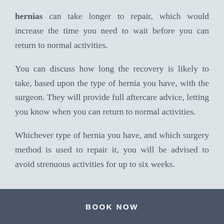hernias can take longer to repair, which would increase the time you need to wait before you can return to normal activities.
You can discuss how long the recovery is likely to take, based upon the type of hernia you have, with the surgeon. They will provide full aftercare advice, letting you know when you can return to normal activities.
Whichever type of hernia you have, and which surgery method is used to repair it, you will be advised to avoid strenuous activities for up to six weeks.
BOOK NOW